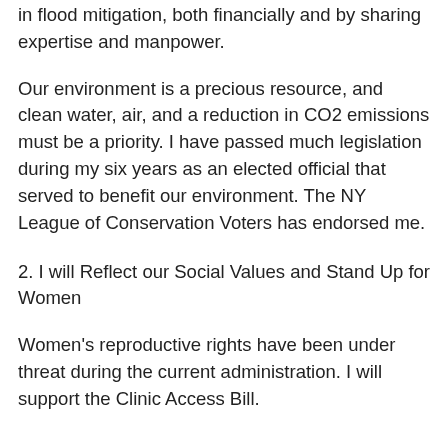in flood mitigation, both financially and by sharing expertise and manpower.
Our environment is a precious resource, and clean water, air, and a reduction in CO2 emissions must be a priority. I have passed much legislation during my six years as an elected official that served to benefit our environment. The NY League of Conservation Voters has endorsed me.
2. I will Reflect our Social Values and Stand Up for Women
Women's reproductive rights have been under threat during the current administration. I will support the Clinic Access Bill.